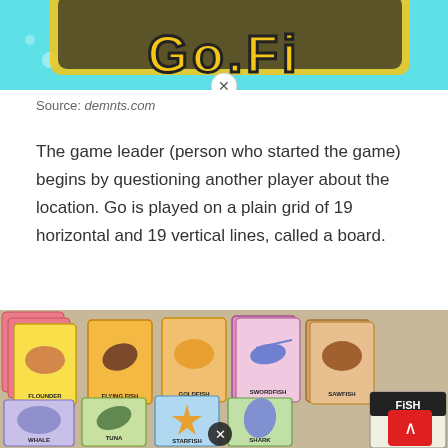[Figure (screenshot): Top portion of a colorful game logo/banner with teal background and yellow outlined text, partially cut off. A small circular close/X button is visible.]
Source: demnts.com
The game leader (person who started the game) begins by questioning another player about the location. Go is played on a plain grid of 19 horizontal and 19 vertical lines, called a board.
[Figure (photo): Photo of fish-themed card game cards spread out on a surface. Top row shows cards labeled FLOUNDER, FLYING FISH, GOLDFISH, SWORDFISH, SAWFISH. Bottom row shows cards labeled TUNA, STARFISH, SHARK, WHALE, and a FISH CARD GAME box. Small circular X/close buttons are visible overlaid on the image.]